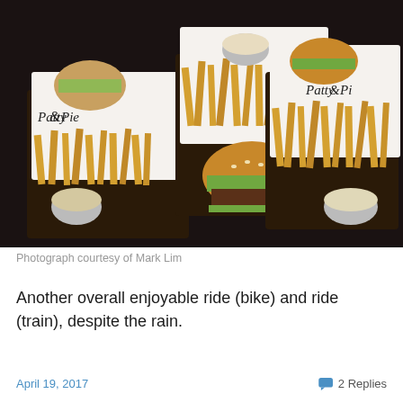[Figure (photo): Three servings of burgers and french fries wrapped in Patty & Pie branded paper wrappers, with small cups of dipping sauce, arranged on a dark table.]
Photograph courtesy of Mark Lim
Another overall enjoyable ride (bike) and ride (train), despite the rain.
April 19, 2017   2 Replies